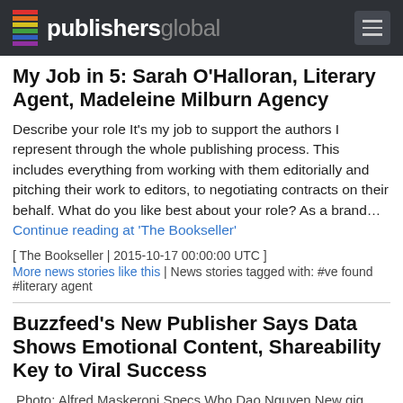publishersglobal
My Job in 5: Sarah O&#039;Halloran, Literary Agent, Madeleine Milburn Agency
Describe your role It's my job to support the authors I represent through the whole publishing process. This includes everything from working with them editorially and pitching their work to editors, to negotiating contracts on their behalf. What do you like best about your role? As a brand… Continue reading at 'The Bookseller'
[ The Bookseller | 2015-10-17 00:00:00 UTC ]
More news stories like this | News stories tagged with: #ve found #literary agent
Buzzfeed's New Publisher Says Data Shows Emotional Content, Shareability Key to Viral Success
Photo: Alfred Maskeroni Specs Who Dao Nguyen New gig Publisher,